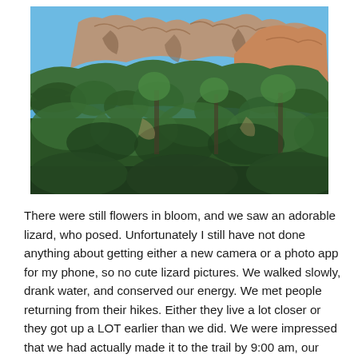[Figure (photo): Outdoor landscape photograph showing rugged rocky mountain cliffs with layered sandstone formations at the top against a clear blue sky, and dense green vegetation including juniper and pine trees covering the slopes in the foreground.]
There were still flowers in bloom, and we saw an adorable lizard, who posed. Unfortunately I still have not done anything about getting either a new camera or a photo app for my phone, so no cute lizard pictures. We walked slowly, drank water, and conserved our energy. We met people returning from their hikes. Either they live a lot closer or they got up a LOT earlier than we did. We were impressed that we had actually made it to the trail by 9:00 am, our goal 😮